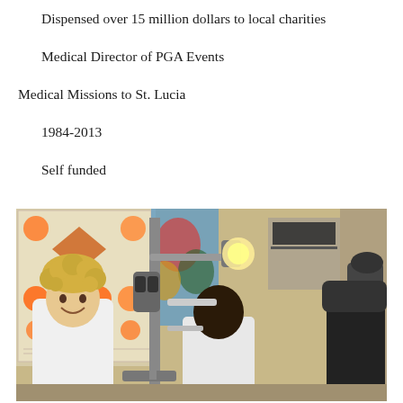Dispensed over 15 million dollars to local charities
Medical Director of PGA Events
Medical Missions to St. Lucia
1984-2013
Self funded
[Figure (photo): A doctor with curly blond hair smiles at the camera while a patient sits behind a slit lamp eye examination device in a medical office. An orange-circle eye chart poster is visible on the left wall and a colorful abstract poster is in the background.]